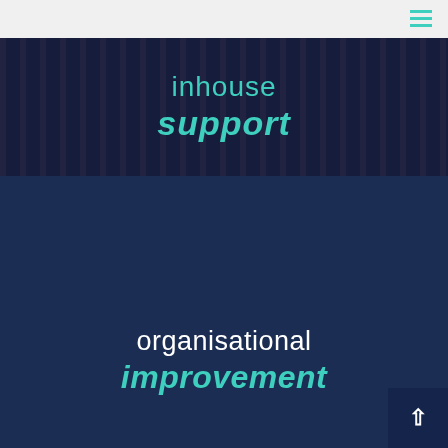PARTNERS
inhouse support
organisational improvement